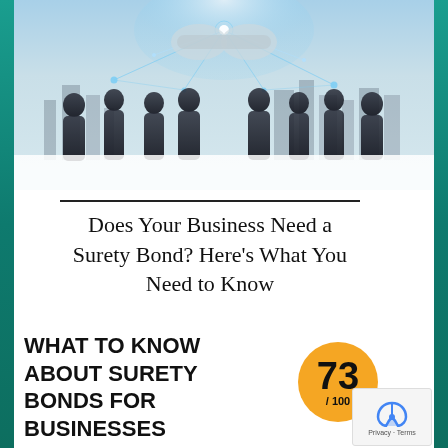[Figure (photo): Composite business image showing silhouettes of people in business attire overlaid with a network of glowing blue connections and a handshake, with a city skyline in the background. Teal/green decorative borders on left and right sides.]
Does Your Business Need a Surety Bond? Here's What You Need to Know
WHAT TO KNOW ABOUT SURETY BONDS FOR BUSINESSES
[Figure (infographic): Orange circle score badge showing '73 / 100']
Privacy · Terms